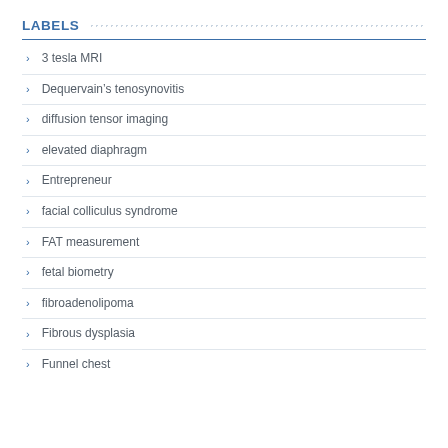LABELS
3 tesla MRI
Dequervain's tenosynovitis
diffusion tensor imaging
elevated diaphragm
Entrepreneur
facial colliculus syndrome
FAT measurement
fetal biometry
fibroadenolipoma
Fibrous dysplasia
Funnel chest